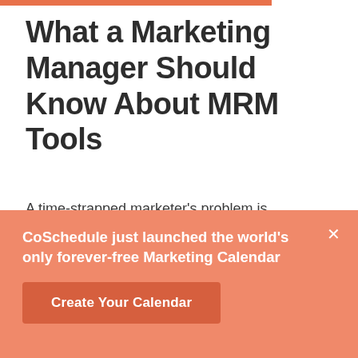What a Marketing Manager Should Know About MRM Tools
A time-strapped marketer’s problem is exacerbated by what we call Makeshift Marketing.
You’re hacking multiple tools to manage your resources and marketing projects… none of which
CoSchedule just launched the world’s only forever-free Marketing Calendar
Create Your Calendar